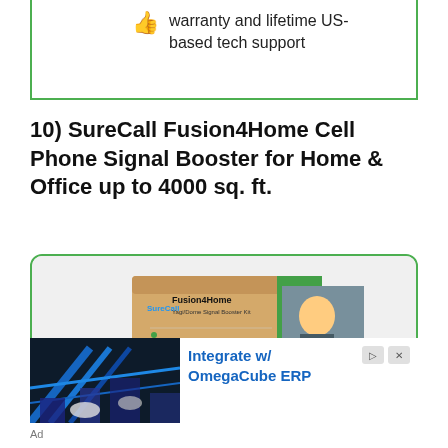warranty and lifetime US-based tech support
10) SureCall Fusion4Home Cell Phone Signal Booster for Home & Office up to 4000 sq. ft.
[Figure (photo): SureCall Fusion4Home signal booster kit product box with components including antenna, displayed inside a green-bordered rounded rectangle]
[Figure (photo): Advertisement image showing industrial/manufacturing setting with blue machinery]
Integrate w/ OmegaCube ERP
Ad